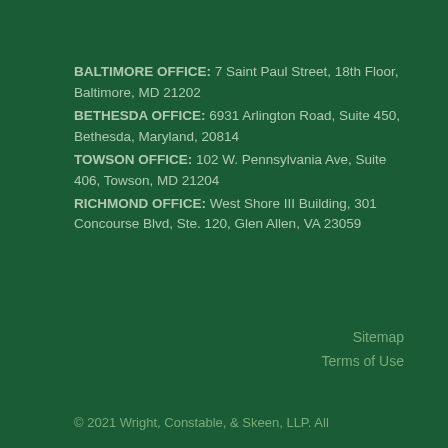BALTIMORE OFFICE: 7 Saint Paul Street, 18th Floor, Baltimore, MD 21202
BETHESDA OFFICE: 6931 Arlington Road, Suite 450, Bethesda, Maryland, 20814
TOWSON OFFICE: 102 W. Pennsylvania Ave, Suite 406, Towson, MD 21204
RICHMOND OFFICE: West Shore III Building, 301 Concourse Blvd, Ste. 120, Glen Allen, VA 23059
Sitemap
Terms of Use
© 2021 Wright, Constable, & Skeen, LLP. All